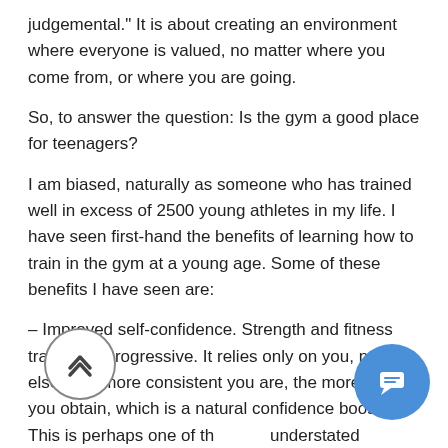judgemental." It is about creating an environment where everyone is valued, no matter where you come from, or where you are going.
So, to answer the question: Is the gym a good place for teenagers?
I am biased, naturally as someone who has trained well in excess of 2500 young athletes in my life. I have seen first-hand the benefits of learning how to train in the gym at a young age. Some of these benefits I have seen are:
– Improved self-confidence. Strength and fitness training is progressive. It relies only on you, no one else. The more consistent you are, the more results you obtain, which is a natural confidence booster. This is perhaps one of the most understated benefits of gym based exercise as a young person.